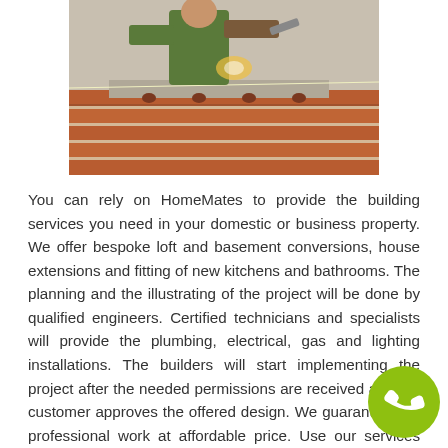[Figure (photo): Construction photo showing a bricklayer laying bricks with mortar on a wall, red bricks visible, worker in background]
You can rely on HomeMates to provide the building services you need in your domestic or business property. We offer bespoke loft and basement conversions, house extensions and fitting of new kitchens and bathrooms. The planning and the illustrating of the project will be done by qualified engineers. Certified technicians and specialists will provide the plumbing, electrical, gas and lighting installations. The builders will start implementing the project after the needed permissions are received and the customer approves the offered design. We guarantee you professional work at affordable price. Use our services available in Lewisham, SE13 and surrounding areas every day in the week.
[Figure (illustration): Green circular phone/call badge icon in the bottom-right corner]